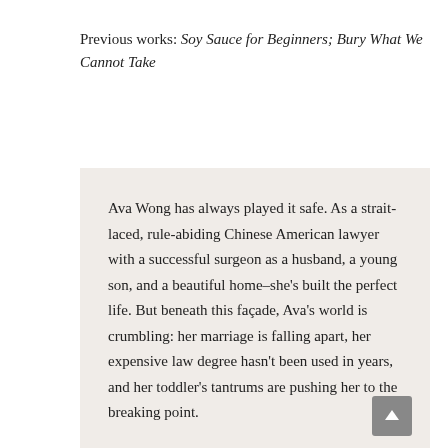Previous works: Soy Sauce for Beginners; Bury What We Cannot Take
Ava Wong has always played it safe. As a strait-laced, rule-abiding Chinese American lawyer with a successful surgeon as a husband, a young son, and a beautiful home–she's built the perfect life. But beneath this façade, Ava's world is crumbling: her marriage is falling apart, her expensive law degree hasn't been used in years, and her toddler's tantrums are pushing her to the breaking point.

Enter Winnie Fang, Ava's enigmatic college roommate from Mainland China, who abruptly dropped out under mysterious circumstances. Now, twenty years later, Winnie is looking to reconnect with her old friend. But